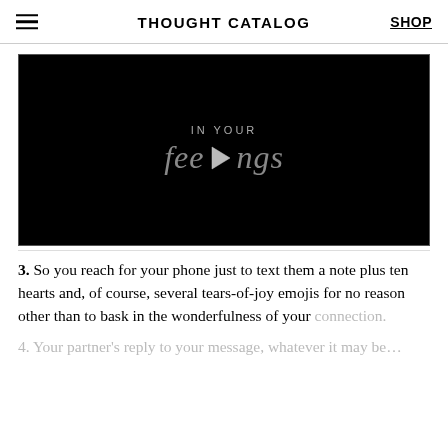THOUGHT CATALOG | SHOP
[Figure (screenshot): Video thumbnail with black background showing text 'IN YOUR feelings' with a play button overlay in the center of the word 'feelings']
3. So you reach for your phone just to text them a note plus ten hearts and, of course, several tears-of-joy emojis for no reason other than to bask in the wonderfulness of your connection.
4. Your partner's reply to your message, whatever it may be...